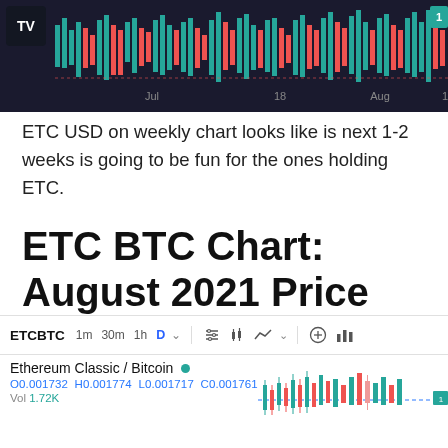[Figure (screenshot): TradingView candlestick chart screenshot showing ETC/USD weekly chart with red and green candles against dark background. X-axis labels: Jul, 18, Aug, 15.]
ETC USD on weekly chart looks like is next 1-2 weeks is going to be fun for the ones holding ETC.
ETC BTC Chart: August 2021 Price Analysis
[Figure (screenshot): TradingView chart interface showing ETCBTC pair. Toolbar with 1m, 30m, 1h, D timeframes. Shows Ethereum Classic / Bitcoin with O0.001732 H0.001774 L0.001717 C0.001761 +0.000033 (+1.91%). Vol 1.72K. Candlestick chart visible on right side.]